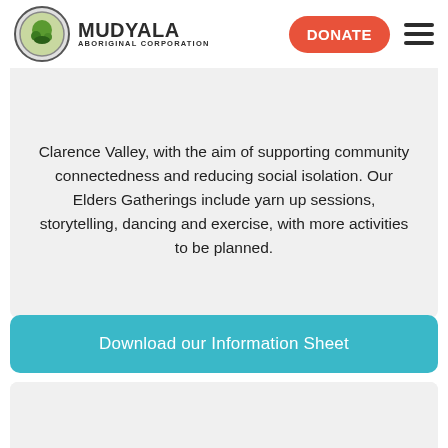Mudyala Aboriginal Corporation — DONATE | menu
Mudyala is excited to support the restablishment of the Mudyala Aboriginal Corporation Elders and are welcome to join us for small gatherings across the Clarence Valley, with the aim of supporting community connectedness and reducing social isolation. Our Elders Gatherings include yarn up sessions, storytelling, dancing and exercise, with more activities to be planned.
Download our Information Sheet